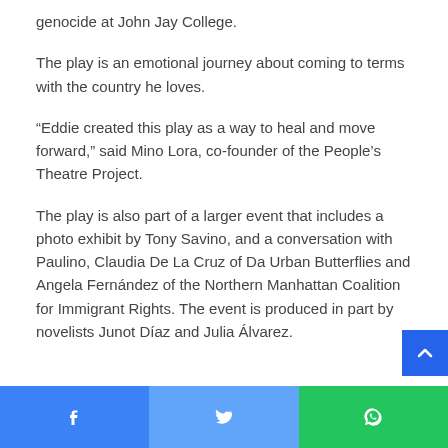genocide at John Jay College.
The play is an emotional journey about coming to terms with the country he loves.
“Eddie created this play as a way to heal and move forward,” said Mino Lora, co-founder of the People’s Theatre Project.
The play is also part of a larger event that includes a photo exhibit by Tony Savino, and a conversation with Paulino, Claudia De La Cruz of Da Urban Butterflies and Angela Fernández of the Northern Manhattan Coalition for Immigrant Rights. The event is produced in part by novelists Junot Díaz and Julia Álvarez.
Facebook | Twitter | WhatsApp